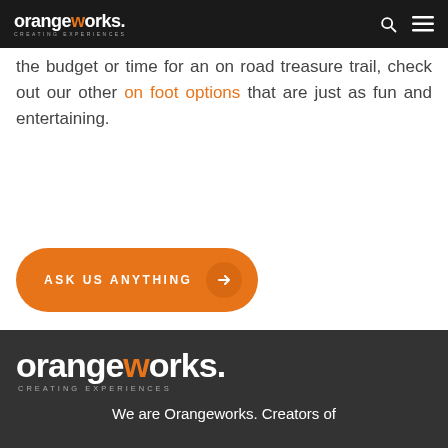orangeworks. CREATING EXPERIENCES
the budget or time for an on road treasure trail, check out our other on foot options that are just as fun and entertaining.
[Figure (other): Orange rounded button with text ASK US ANYTHING and arrow icon]
[Figure (logo): Orangeworks logo in white and orange on dark grey background with tagline CREATING EXPERIENCES]
We are Orangeworks. Creators of